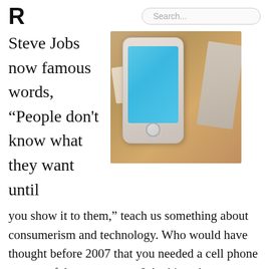R   Search...
Steve Jobs now famous words, “People don't know what they want until
[Figure (photo): A white iPhone with blue screen resting on a wooden surface next to a notebook, photographed from above at an angle.]
you show it to them,” teach us something about consumerism and technology. Who would have thought before 2007 that you needed a cell phone as powerful as a computer? And just three years later we